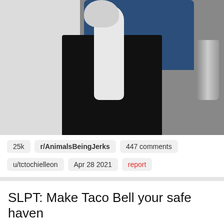[Figure (photo): Photo showing a person in black pants and dark blue shirt holding a cat (black and white), taken in what appears to be a home interior with white walls and a metal trash can visible on the right.]
25k   r/AnimalsBeingJerks   447 comments
u/tctochielleon   Apr 28 2021   report
SLPT: Make Taco Bell your safe haven
Mike Primavera @primawesome